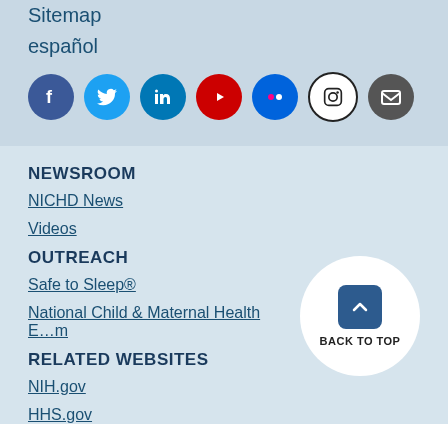Sitemap
español
[Figure (infographic): Social media icons: Facebook, Twitter, LinkedIn, YouTube, Flickr, Instagram, Email]
NEWSROOM
NICHD News
Videos
OUTREACH
Safe to Sleep®
National Child & Maternal Health Education Program
RELATED WEBSITES
NIH.gov
HHS.gov